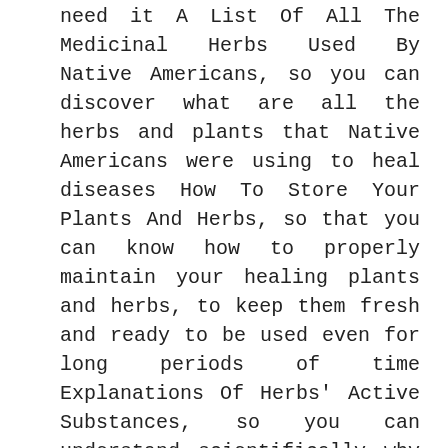need it A List Of All The Medicinal Herbs Used By Native Americans, so you can discover what are all the herbs and plants that Native Americans were using to heal diseases How To Store Your Plants And Herbs, so that you can know how to properly maintain your healing plants and herbs, to keep them fresh and ready to be used even for long periods of time Explanations Of Herbs' Active Substances, so you can understand scientifically why each herb has its own beneficial effect The Most Powerful Step-By-Step Herbal Remedies, so that you can have many step-by-step recipes that you can follow to heal ailments like Asthma, Back Pain, Bronchitis, Nausea, Stress, Hypertension, Insomnia, Depression, Cramps, and many more problems … & Much More! You can see this bundle as the Encyclopedia of Native American Herbalism. It contains everything you need to